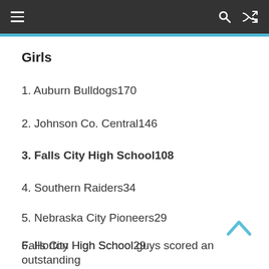Navigation bar with hamburger menu, search, and shuffle icons
Girls
1. Auburn Bulldogs170
2. Johnson Co. Central146
3. Falls City High School108
4. Southern Raiders34
5. Nebraska City Pioneers29
6. Horton High School29
Falls City High School guys scored an outstanding